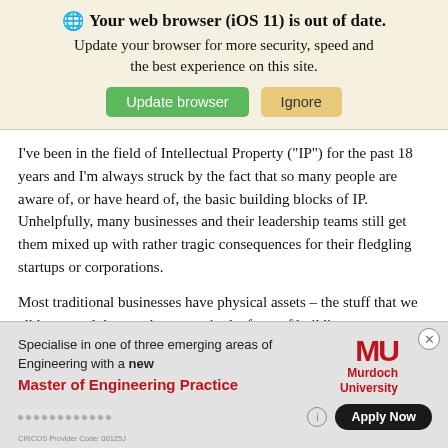[Figure (screenshot): Browser out-of-date warning banner with globe icon, bold title, subtitle, and two buttons: green 'Update browser' and tan 'Ignore']
I've been in the field of Intellectual Property ("IP") for the past 18 years and I'm always struck by the fact that so many people are aware of, or have heard of, the basic building blocks of IP. Unhelpfully, many businesses and their leadership teams still get them mixed up with rather tragic consequences for their fledgling startups or corporations.
Most traditional businesses have physical assets – the stuff that we all know and that can be seen – in the form of buildings,
[Figure (screenshot): Murdoch University advertisement: 'Specialise in one of three emerging areas of Engineering with a new Master of Engineering Practice' with MU logo in red and an 'Apply Now' button]